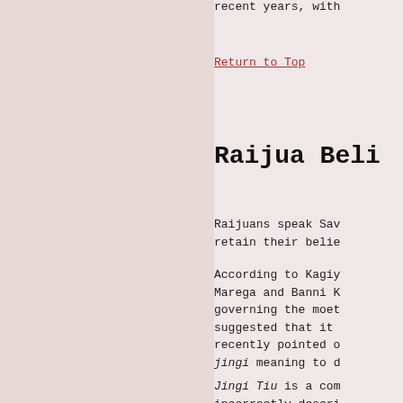recent years, with
Return to Top
Raijua Beli
Raijuans speak Sav
retain their belie
According to Kagiy
Marega and Banni K
governing the moet
suggested that it
recently pointed o
jingi meaning to d
Jingi Tiu is a com
incorrectly descri